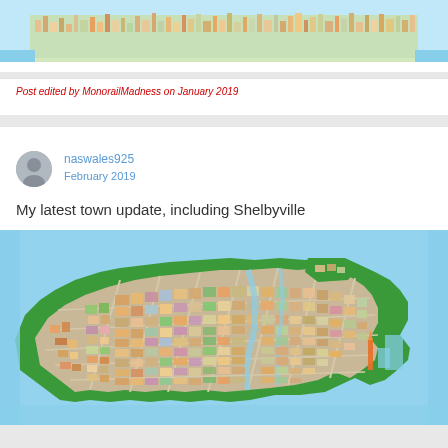[Figure (screenshot): Top portion of a forum post showing an isometric city-builder game screenshot with colorful buildings and blue water]
Post edited by MonorailMadness on January 2019
naswales925
February 2019
My latest town update, including Shelbyville
[Figure (screenshot): Isometric city-builder game screenshot showing a large city island surrounded by blue water, with green borders, dense colorful buildings, roads, waterways, and various structures filling the landmass]